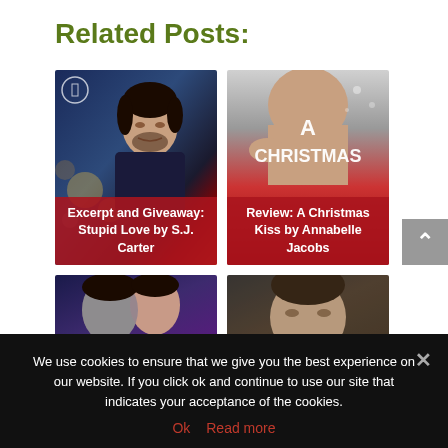Related Posts:
[Figure (photo): Book cover for 'Stupid Love by S.J. Carter' with a man's face and bokeh lights, red overlay with text 'Excerpt and Giveaway: Stupid Love by S.J. Carter']
[Figure (photo): Book cover for 'A Christmas Kiss by Annabelle Jacobs' with a shirtless figure, red overlay with text 'Review: A Christmas Kiss by Annabelle Jacobs']
[Figure (photo): Partial book cover showing two faces close together with blue/pink tones]
[Figure (photo): Partial book cover showing a man's face in muted tones]
We use cookies to ensure that we give you the best experience on our website. If you click ok and continue to use our site that indicates your acceptance of the cookies.
Ok   Read more